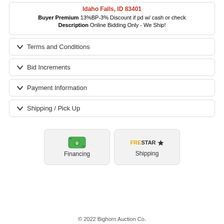Idaho Falls, ID 83401
Buyer Premium 13%BP-3% Discount if pd w/ cash or check
Description Online Bidding Only - We Ship!
Terms and Conditions
Bid Increments
Payment Information
Shipping / Pick Up
[Figure (illustration): Financing button with green cash icon]
[Figure (logo): FreStar Shipping logo with star]
© 2022 Bighorn Auction Co.